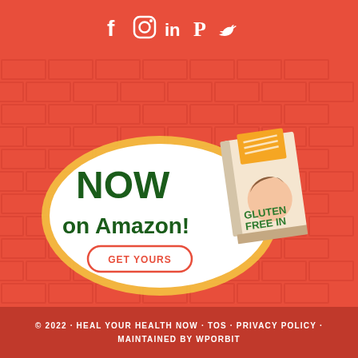f  ☐  in  P  🐦
[Figure (illustration): Promotional banner on red brick background. An oval white bubble with yellow border contains text 'NOW on Amazon! GET YOURS' button. Next to it is an illustrated book cover showing 'GLUTEN FREE IN 5 DAYS'.]
© 2022 · HEAL YOUR HEALTH NOW · TOS · PRIVACY POLICY · MAINTAINED BY WPORBIT